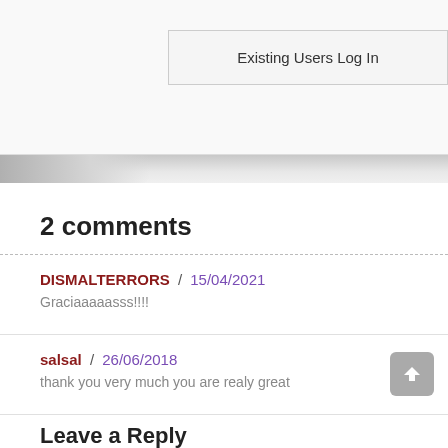Existing Users Log In
2 comments
DISMALTERRORS / 15/04/2021
Graciaaaaasss!!!!
salsal / 26/06/2018
thank you very much you are realy great
Leave a Reply